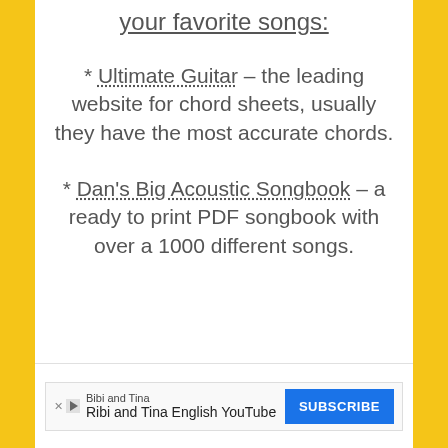your favorite songs:
* Ultimate Guitar – the leading website for chord sheets, usually they have the most accurate chords.
* Dan's Big Acoustic Songbook – a ready to print PDF songbook with over a 1000 different songs.
[Figure (other): Advertisement banner for Bibi and Tina English YouTube channel with a Subscribe button]